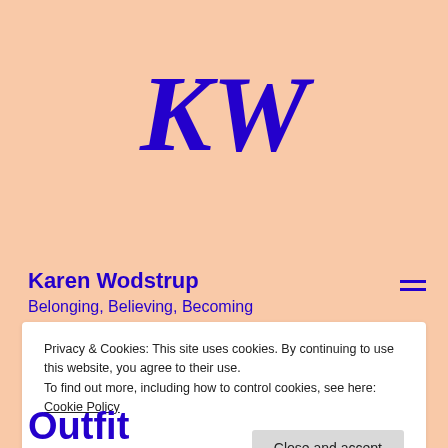[Figure (logo): KW logo — large bold italic letters 'KW' in dark blue/indigo on peach background]
Karen Wodstrup
Belonging, Believing, Becoming
Privacy & Cookies: This site uses cookies. By continuing to use this website, you agree to their use.
To find out more, including how to control cookies, see here: Cookie Policy
Close and accept
Outfit